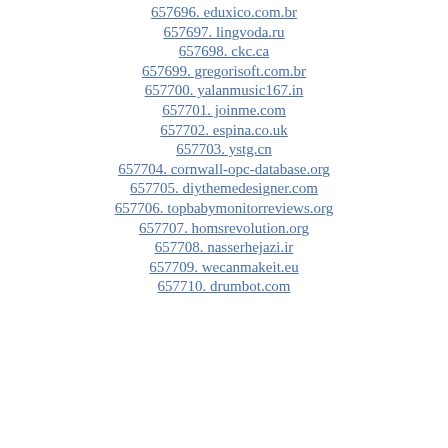657696. eduxico.com.br
657697. lingvoda.ru
657698. ckc.ca
657699. gregorisoft.com.br
657700. yalanmusic167.in
657701. joinme.com
657702. espina.co.uk
657703. ystg.cn
657704. cornwall-opc-database.org
657705. diythemedesigner.com
657706. topbabymonitorreviews.org
657707. homsrevolution.org
657708. nasserhejazi.ir
657709. wecanmakeit.eu
657710. drumbot.com